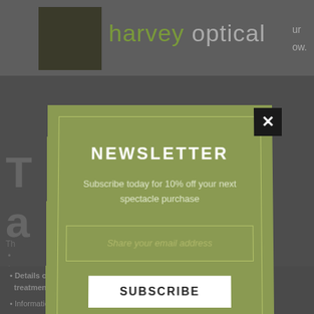harvey optical
T a
Th
[Figure (screenshot): Newsletter subscription popup modal on Harvey Optical website. Green background popup with title NEWSLETTER, subtitle 'Subscribe today for 10% off your next spectacle purchase', email input field with placeholder 'Share your email address', SUBSCRIBE button, and checkbox 'Don't show this popup again'. Black X close button top right.]
Details of examinations and other healthcare checks and treatments we provide
Information relevant to your continued care from other